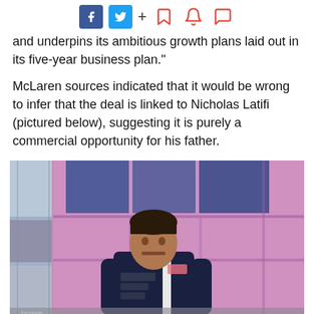f [facebook] [twitter] + [bookmark] [bell] [chat]
and underpins its ambitious growth plans laid out in its five-year business plan."
McLaren sources indicated that it would be wrong to infer that the deal is linked to Nicholas Latifi (pictured below), suggesting it is purely a commercial opportunity for his father.
[Figure (photo): Nicholas Latifi in a dark navy racing team hoodie with sponsor logos (BWT, BMW, NEC), standing outdoors in front of a pink and purple building facade.]